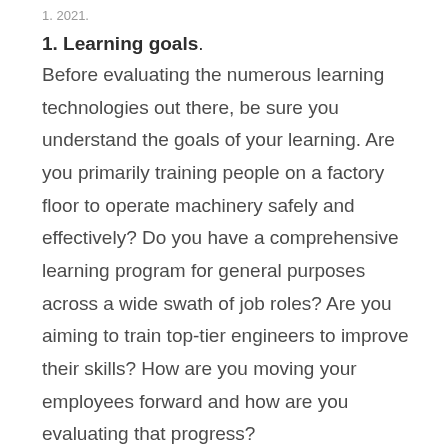1. 2021.
1. Learning goals.
Before evaluating the numerous learning technologies out there, be sure you understand the goals of your learning. Are you primarily training people on a factory floor to operate machinery safely and effectively? Do you have a comprehensive learning program for general purposes across a wide swath of job roles? Are you aiming to train top-tier engineers to improve their skills? How are you moving your employees forward and how are you evaluating that progress?
We recently spoke to our CEO, Tom Grobicki, on the topic of learning tech stacks and he